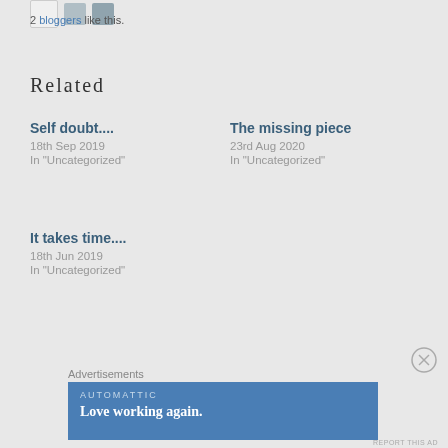2 bloggers like this.
Related
Self doubt....
18th Sep 2019
In "Uncategorized"
The missing piece
23rd Aug 2020
In "Uncategorized"
It takes time....
18th Jun 2019
In "Uncategorized"
Advertisements
[Figure (other): Automattic advertisement banner with text 'Love working again.']
REPORT THIS AD